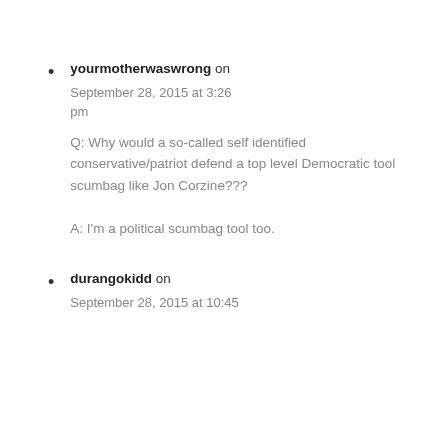yourmotherwaswrong on September 28, 2015 at 3:26 pm
Q: Why would a so-called self identified conservative/patriot defend a top level Democratic tool scumbag like Jon Corzine???
A: I'm a political scumbag tool too.
durangokidd on September 28, 2015 at 10:45